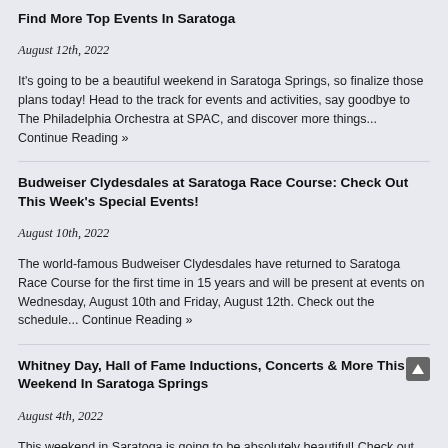Find More Top Events In Saratoga
August 12th, 2022
It's going to be a beautiful weekend in Saratoga Springs, so finalize those plans today! Head to the track for events and activities, say goodbye to The Philadelphia Orchestra at SPAC, and discover more things... Continue Reading »
Budweiser Clydesdales at Saratoga Race Course: Check Out This Week's Special Events!
August 10th, 2022
The world-famous Budweiser Clydesdales have returned to Saratoga Race Course for the first time in 15 years and will be present at events on Wednesday, August 10th and Friday, August 12th. Check out the schedule... Continue Reading »
Whitney Day, Hall of Fame Inductions, Concerts & More This Weekend In Saratoga Springs
August 4th, 2022
This weekend in Saratoga is going to be absolutely beautiful! Check out Whitney Day, the 2022 National Racing Hall of Fame inductions, a Yo Yo Ma concert, and more... This Weekend at Saratoga Race Course...